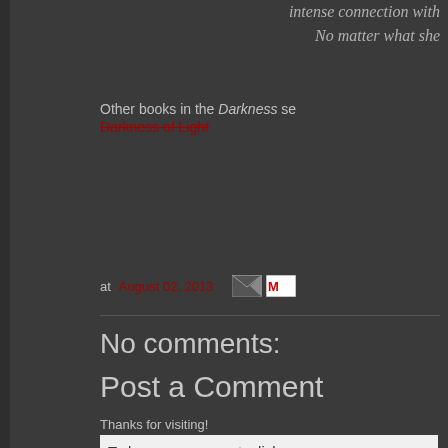intense connection with
No matter what she
Other books in the Darkness se
Darkness of Light
at August 02, 2013
No comments:
Post a Comment
Thanks for visiting!
To leave a comment, click
SIGN IN WITH GOOGLE